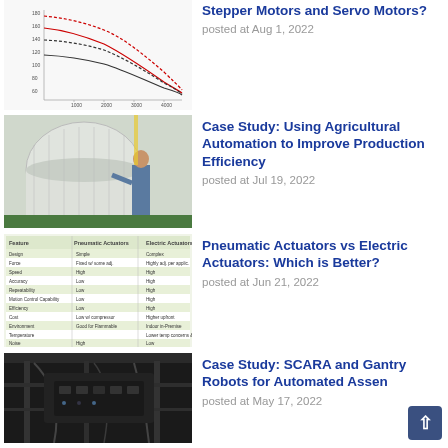[Figure (continuous-plot): Line chart showing stepper motor performance curves (torque vs speed), with red dashed and black solid/dashed lines, partially cropped at top]
Stepper Motors and Servo Motors?
posted at Aug 1, 2022
[Figure (photo): Photo of a man in a white coat next to large industrial agricultural equipment in a facility]
Case Study: Using Agricultural Automation to Improve Production Efficiency
posted at Jul 19, 2022
[Figure (table-as-image): Comparison table of Pneumatic Actuators vs Electric Actuators with green highlighted cells]
Pneumatic Actuators vs Electric Actuators: Which is Better?
posted at Jun 21, 2022
[Figure (photo): Dark photo of industrial robot system interior, showing mechanical components and cables]
Case Study: SCARA and Gantry Robots for Automated Assen
posted at May 17, 2022